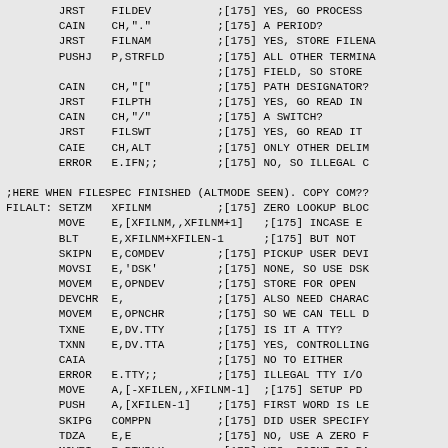Assembly language source code listing with mnemonics, operands, and comments. Instructions include JRST, CAIN, PUSHJ, CAIE, ERROR, SETZM, MOVE, BLT, SKIPN, MOVSI, MOVEM, DEVCHR, TXNE, TXNN, CAIA, PUSH, SKIPG, TDZA, MOVEI with associated operands and comments referencing line [175].